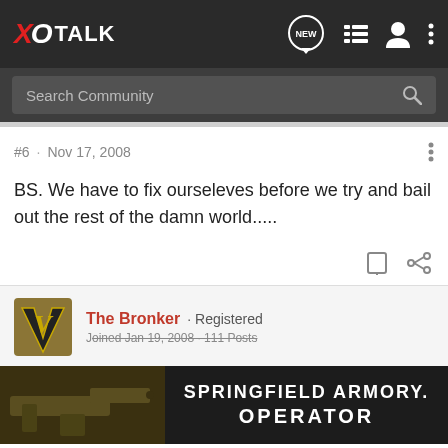XOTALK
Search Community
#6 · Nov 17, 2008
BS. We have to fix ourseleves before we try and bail out the rest of the damn world.....
The Bronker · Registered
SPRINGFIELD ARMORY. OPERATOR
#7 · Nov